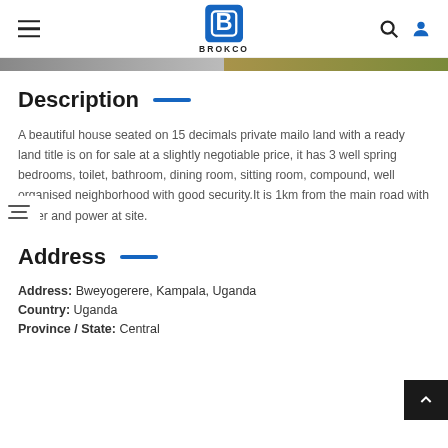BROKCO
[Figure (photo): Two property photos shown as a strip below the header nav]
Description
A beautiful house seated on 15 decimals private mailo land with a ready land title is on for sale at a slightly negotiable price, it has 3 well spring bedrooms, toilet, bathroom, dining room, sitting room, compound, well organised neighborhood with good security.It is 1km from the main road with water and power at site.
Address
Address: Bweyogerere, Kampala, Uganda
Country: Uganda
Province / State: Central